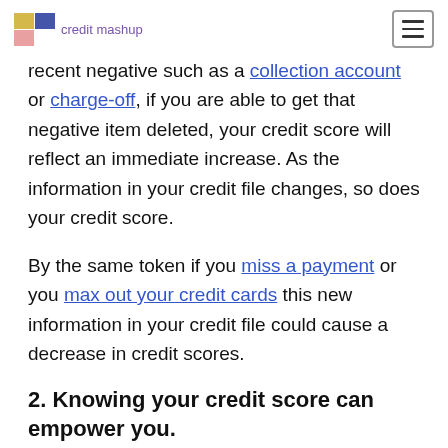credit mashup
recent negative such as a collection account or charge-off, if you are able to get that negative item deleted, your credit score will reflect an immediate increase. As the information in your credit file changes, so does your credit score.
By the same token if you miss a payment or you max out your credit cards this new information in your credit file could cause a decrease in credit scores.
2. Knowing your credit score can empower you.
Generally, the higher your credit score, the better